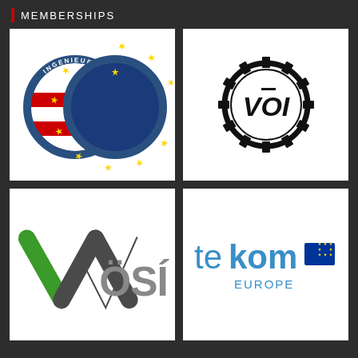Memberships
[Figure (logo): Ingenieur Büros logo: two overlapping circular emblems — left circle showing Austrian flag (red-white-red), right circle showing EU stars on blue background, with text INGENIEUR BÜROS around the rim]
[Figure (logo): VOI logo: circular gear/cog border in black with VOI text styled in italic bold inside, on white background]
[Figure (logo): VÖSI logo: large stylized V in green with checkmark, ÖSÍ in gray letters, on white background]
[Figure (logo): tekom Europe logo: 'te' in blue, 'kom' in blue bold, followed by EU flag stars, and 'EUROPE' text below, on white background]